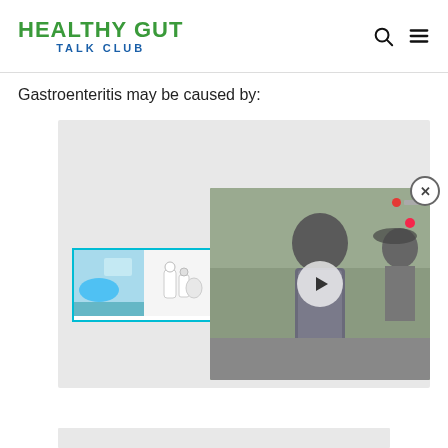HEALTHY GUT TALK CLUB
Gastroenteritis may be caused by:
[Figure (screenshot): Website screenshot showing a content area with a thumbnail image strip of three photos and a number '3+', overlaid by a video player showing a person in the rain with a play button and recording indicator.]